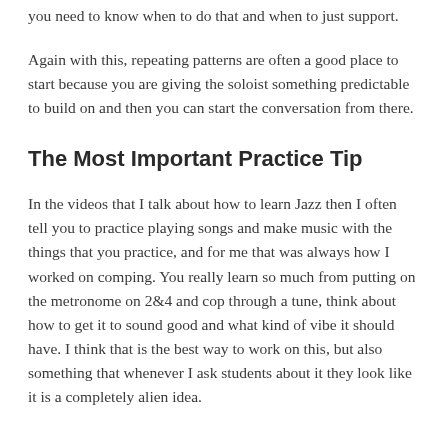you need to know when to do that and when to just support.
Again with this, repeating patterns are often a good place to start because you are giving the soloist something predictable to build on and then you can start the conversation from there.
The Most Important Practice Tip
In the videos that I talk about how to learn Jazz then I often tell you to practice playing songs and make music with the things that you practice, and for me that was always how I worked on comping. You really learn so much from putting on the metronome on 2&4 and cop through a tune, think about how to get it to sound good and what kind of vibe it should have. I think that is the best way to work on this, but also something that whenever I ask students about it they look like it is a completely alien idea.